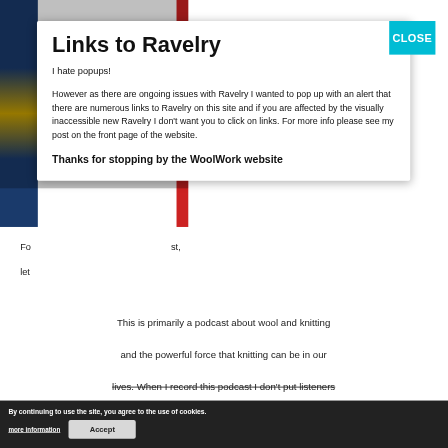Links to Ravelry
I hate popups!
However as there are ongoing issues with Ravelry I wanted to pop up with an alert that there are numerous links to Ravelry on this site and if you are affected by the visually inaccessible new Ravelry I don't want you to click on links. For more info please see my post on the front page of the website.
Thanks for stopping by the WoolWork website
This is primarily a podcast about wool and knitting and the powerful force that knitting can be in our lives. When I record this podcast I don't put listeners into ne...ons...olitics may be – because I consider us all to be unique.  I don't talk about politics in any great deal (again, mainly all
By continuing to use the site, you agree to the use of cookies.
more information
Accept